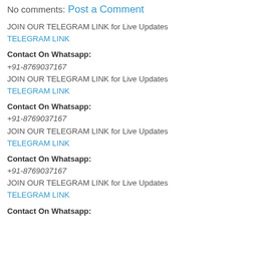No comments:
Post a Comment
JOIN OUR TELEGRAM LINK for Live Updates
TELEGRAM LINK
Contact On Whatsapp:
+91-8769037167
JOIN OUR TELEGRAM LINK for Live Updates
TELEGRAM LINK
Contact On Whatsapp:
+91-8769037167
JOIN OUR TELEGRAM LINK for Live Updates
TELEGRAM LINK
Contact On Whatsapp:
+91-8769037167
JOIN OUR TELEGRAM LINK for Live Updates
TELEGRAM LINK
Contact On Whatsapp: